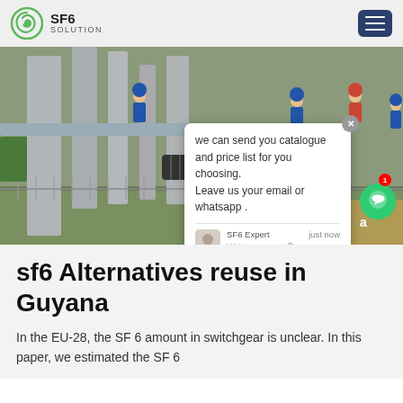SF6 SOLUTION
[Figure (photo): Industrial electrical switchgear facility with workers in blue hard hats and overalls working among large grey pipes and equipment. A chat popup overlay reads: 'we can send you catalogue and price list for you choosing. Leave us your email or whatsapp .' with SF6 Expert label and 'just now' timestamp.]
sf6 Alternatives reuse in Guyana
In the EU-28, the SF 6 amount in switchgear is unclear. In this paper, we estimated the SF 6